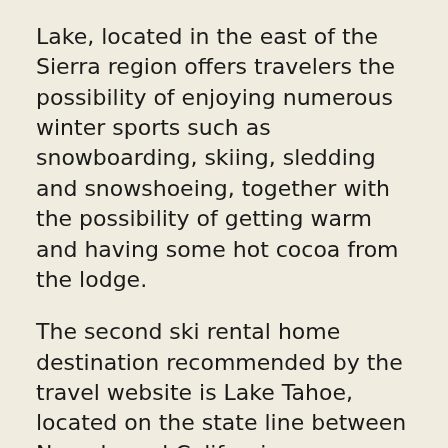Lake, located in the east of the Sierra region offers travelers the possibility of enjoying numerous winter sports such as snowboarding, skiing, sledding and snowshoeing, together with the possibility of getting warm and having some hot cocoa from the lodge.
The second ski rental home destination recommended by the travel website is Lake Tahoe, located on the state line between Nevada and California.
This destination is a great choice for tourists throughout the year, but during the winter, it offers even more possibilities for travelers who wish to enjoy a vacation during the cold season.
Lake Tahoe has numerous ski areas both cross country and downhill, but also offers fun sleigh rides and dog sledding and a few casinos for tourists who want to warm up and try their luck.